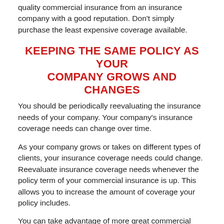quality commercial insurance from an insurance company with a good reputation. Don't simply purchase the least expensive coverage available.
KEEPING THE SAME POLICY AS YOUR COMPANY GROWS AND CHANGES
You should be periodically reevaluating the insurance needs of your company. Your company's insurance coverage needs can change over time.
As your company grows or takes on different types of clients, your insurance coverage needs could change. Reevaluate insurance coverage needs whenever the policy term of your commercial insurance is up. This allows you to increase the amount of coverage your policy includes.
You can take advantage of more great commercial insurance advice by contacting us at NCIB Group Inc. We offer commercial insurance in Chicago, IL. Contact us with questions and inquiries.